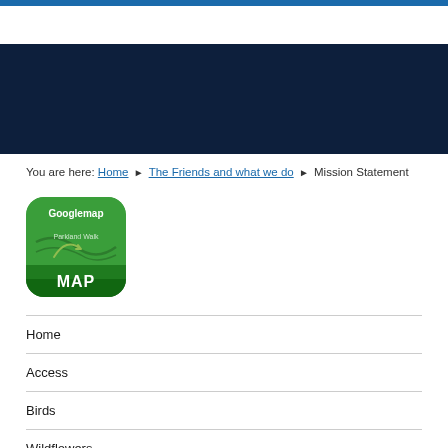You are here: Home ▶ The Friends and what we do ▶ Mission Statement
[Figure (illustration): Green rounded square app icon for a Googlemap showing Parkland Walk, with MAP text at the bottom]
Home
Access
Birds
Wildflowers